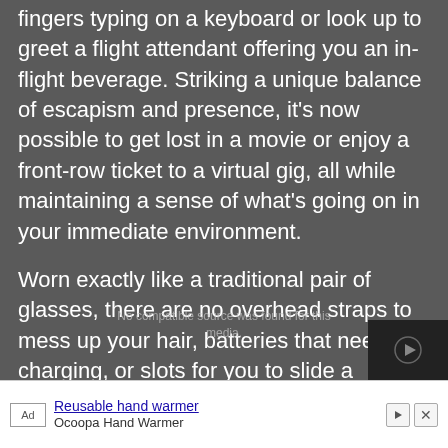fingers typing on a keyboard or look up to greet a flight attendant offering you an in-flight beverage. Striking a unique balance of escapism and presence, it’s now possible to get lost in a movie or enjoy a front-row ticket to a virtual gig, all while maintaining a sense of what’s going on in your immediate environment.
Worn exactly like a traditional pair of glasses, there are no overhead straps to mess up your hair, batteries that need charging, or slots for you to slide a smartphone into with NXTWEAR G. You also don’t need an app; simply connect the glasses to any smart device with a compatible USB-C display-out port and put them on for a fantastic visual experience.
Ad Reusable hand warmer Ocoopa Hand Warmer